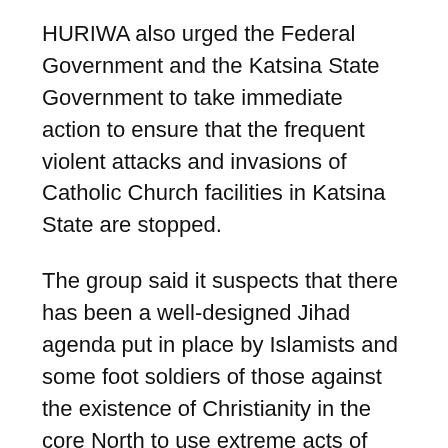HURIWA also urged the Federal Government and the Katsina State Government to take immediate action to ensure that the frequent violent attacks and invasions of Catholic Church facilities in Katsina State are stopped.
The group said it suspects that there has been a well-designed Jihad agenda put in place by Islamists and some foot soldiers of those against the existence of Christianity in the core North to use extreme acts of criminal violence and terror to dissuade the Catholic Church and other Christian denominations from establishing branches in what is presumed to be a stronghold of Islamic religion in Nigeria.
HURIWA's position was part of a statement signed by its